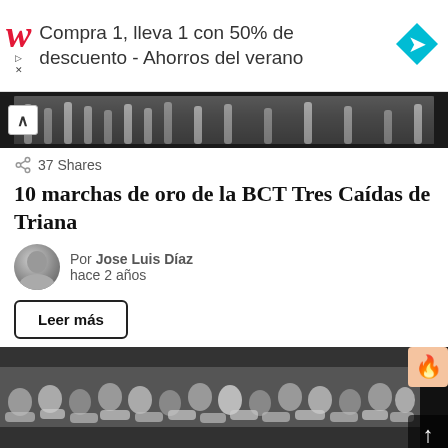[Figure (screenshot): Walgreens advertisement banner: 'Compra 1, lleva 1 con 50% de descuento - Ahorros del verano' with Walgreens W logo and blue diamond navigation arrow]
[Figure (photo): Partial photograph of musicians/band, top portion visible]
37 Shares
10 marchas de oro de la BCT Tres Caídas de Triana
Por Jose Luis Díaz
hace 2 años
Leer más
[Figure (photo): Photograph of a large marching band or brass ensemble performing, many musicians in uniform playing instruments]